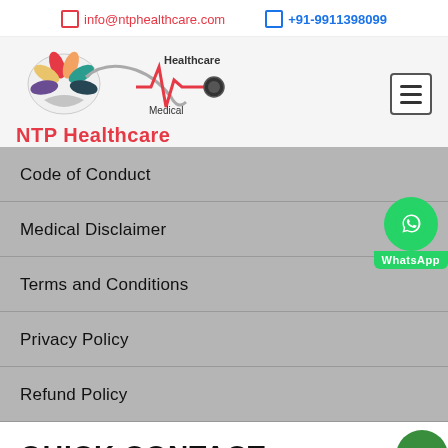info@ntphealthcare.com   +91-9911398099
[Figure (logo): NTP Healthcare logo with stethoscope and heartbeat line graphic, colorful bird/flower emblem, text 'Healthcare Medical NTP Healthcare' in red]
Code of Conduct
Medical Disclaimer
Terms and Conditions
Privacy Policy
Refund Policy
QUICK CONTACT